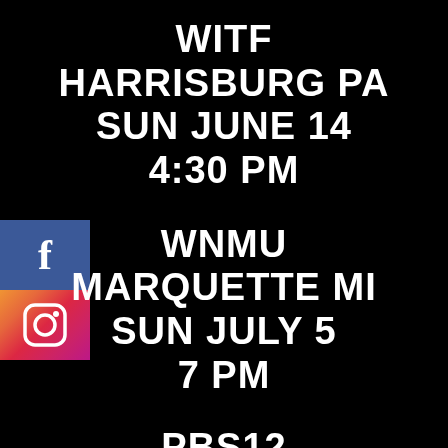WITF
HARRISBURG PA
SUN JUNE 14
4:30 PM
[Figure (logo): Facebook logo icon - blue square with white 'f']
[Figure (logo): Instagram logo icon - gradient square with camera outline]
WNMU
MARQUETTE MI
SUN JULY 5
7 PM
PBS12